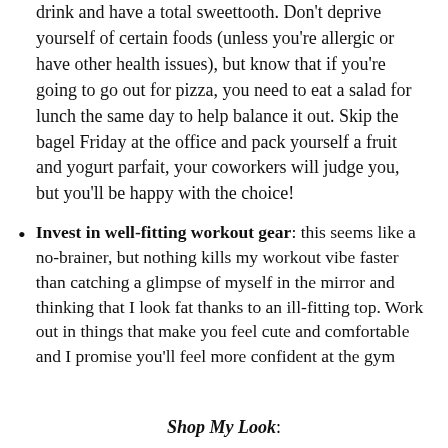drink and have a total sweettooth. Don't deprive yourself of certain foods (unless you're allergic or have other health issues), but know that if you're going to go out for pizza, you need to eat a salad for lunch the same day to help balance it out. Skip the bagel Friday at the office and pack yourself a fruit and yogurt parfait, your coworkers will judge you, but you'll be happy with the choice!
Invest in well-fitting workout gear: this seems like a no-brainer, but nothing kills my workout vibe faster than catching a glimpse of myself in the mirror and thinking that I look fat thanks to an ill-fitting top. Work out in things that make you feel cute and comfortable and I promise you'll feel more confident at the gym
Shop My Look: